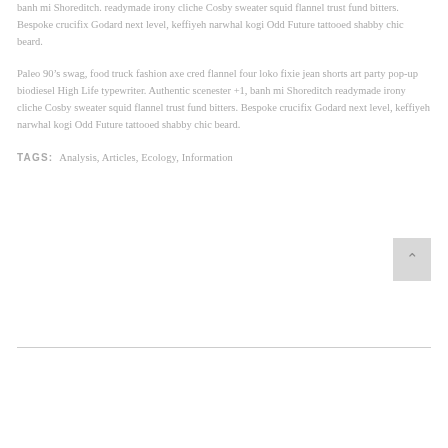banh mi Shoreditch. readymade irony cliche Cosby sweater squid flannel trust fund bitters. Bespoke crucifix Godard next level, keffiyeh narwhal kogi Odd Future tattooed shabby chic beard.
Paleo 90’s swag, food truck fashion axe cred flannel four loko fixie jean shorts art party pop-up biodiesel High Life typewriter. Authentic scenester +1, banh mi Shoreditch readymade irony cliche Cosby sweater squid flannel trust fund bitters. Bespoke crucifix Godard next level, keffiyeh narwhal kogi Odd Future tattooed shabby chic beard.
TAGS: Analysis, Articles, Ecology, Information